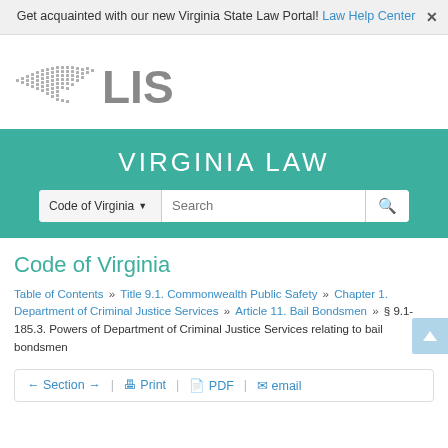Get acquainted with our new Virginia State Law Portal! Law Help Center
[Figure (logo): Virginia LIS logo — stylized outline of Virginia state with dotted pattern and 'LIS' text in gray]
VIRGINIA LAW
Code of Virginia ▼  Search
Code of Virginia
Table of Contents » Title 9.1. Commonwealth Public Safety » Chapter 1. Department of Criminal Justice Services » Article 11. Bail Bondsmen » § 9.1-185.3. Powers of Department of Criminal Justice Services relating to bail bondsmen
← Section →  Print  PDF  email